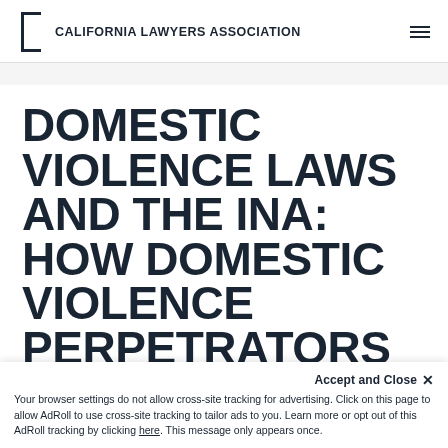CALIFORNIA LAWYERS ASSOCIATION
DOMESTIC VIOLENCE LAWS AND THE INA: HOW DOMESTIC VIOLENCE PERPETRATORS ATTAIN IMMIGRATION
Accept and Close ×
Your browser settings do not allow cross-site tracking for advertising. Click on this page to allow AdRoll to use cross-site tracking to tailor ads to you. Learn more or opt out of this AdRoll tracking by clicking here. This message only appears once.